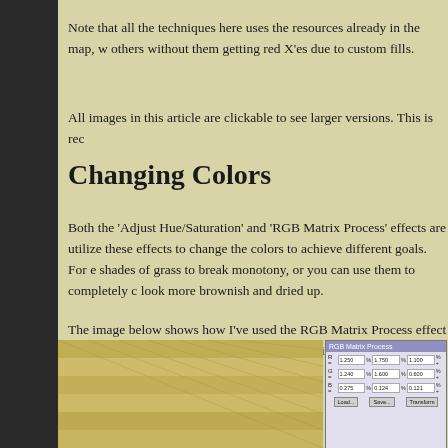Note that all the techniques here uses the resources already in the map, w others without them getting red X'es due to custom fills.
All images in this article are clickable to see larger versions. This is rec
Changing Colors
Both the ‘Adjust Hue/Saturation’ and ‘RGB Matrix Process’ effects are utilize these effects to change the colors to achieve different goals. For e shades of grass to break monotony, or you can use them to completely c look more brownish and dried up.
The image below shows how I’ve used the RGB Matrix Process effect t the standard Mike Schley style farmlands. A little color change goes a lo look.
[Figure (screenshot): Screenshot showing farmland map tiles with yellowish/tan color, alongside an RGB Matrix Process dialog box with numerical values for color adjustment.]